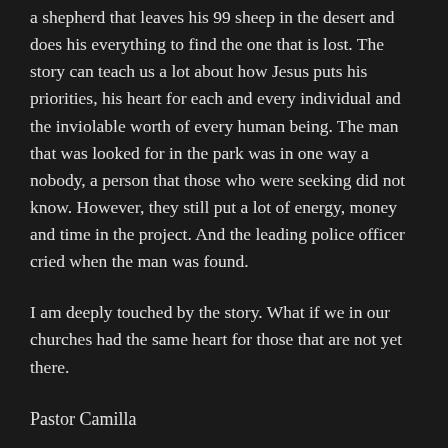a shepherd that leaves his 99 sheep in the desert and does his everything to find the one that is lost. The story can teach us a lot about how Jesus puts his priorities, his heart for each and every individual and the inviolable worth of every human being. The man that was looked for in the park was in one way a nobody, a person that those who were seeking did not know. However, they still put a lot of energy, money and time in the project. And the leading police officer cried when the man was found.
I am deeply touched by the story. What if we in our churches had the same heart for those that are not yet there.
Pastor Camilla